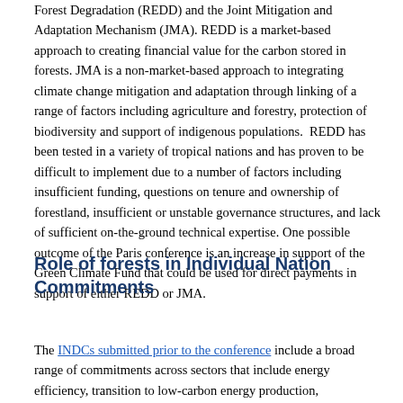Forest Degradation (REDD) and the Joint Mitigation and Adaptation Mechanism (JMA). REDD is a market-based approach to creating financial value for the carbon stored in forests. JMA is a non-market-based approach to integrating climate change mitigation and adaptation through linking of a range of factors including agriculture and forestry, protection of biodiversity and support of indigenous populations.  REDD has been tested in a variety of tropical nations and has proven to be difficult to implement due to a number of factors including insufficient funding, questions on tenure and ownership of forestland, insufficient or unstable governance structures, and lack of sufficient on-the-ground technical expertise. One possible outcome of the Paris conference is an increase in support of the Green Climate Fund that could be used for direct payments in support of either REDD or JMA.
Role of forests in Individual Nation Commitments
The INDCs submitted prior to the conference include a broad range of commitments across sectors that include energy efficiency, transition to low-carbon energy production,